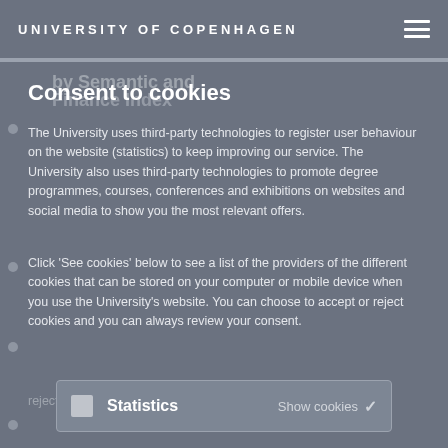UNIVERSITY OF COPENHAGEN
Consent to cookies
The University uses third-party technologies to register user behaviour on the website (statistics) to keep improving our service. The University also uses third-party technologies to promote degree programmes, courses, conferences and exhibitions on websites and social media to show you the most relevant offers.
Click 'See cookies' below to see a list of the providers of the different cookies that can be stored on your computer or mobile device when you use the University's website. You can choose to accept or reject cookies and you can always review your consent.
Statistics   Show cookies